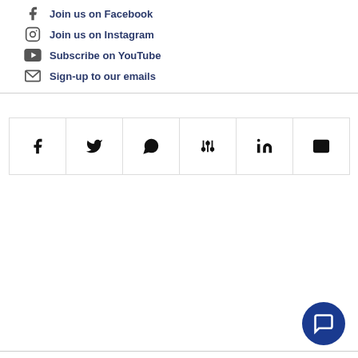Join us on Facebook
Join us on Instagram
Subscribe on YouTube
Sign-up to our emails
[Figure (infographic): Social share bar with icons for Facebook, Twitter, WhatsApp, Pinterest, LinkedIn, and Email]
[Figure (other): Dark blue circular chat/support button in bottom right corner]